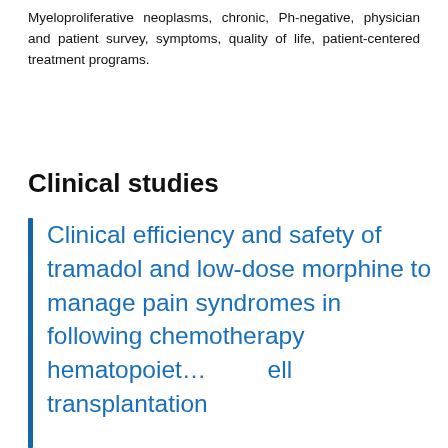Myeloproliferative neoplasms, chronic, Ph-negative, physician and patient survey, symptoms, quality of life, patient-centered treatment programs.
Clinical studies
Clinical efficiency and safety of tramadol and low-dose morphine to manage pain syndromes in following chemotherapy hematopoietic cell transplantation